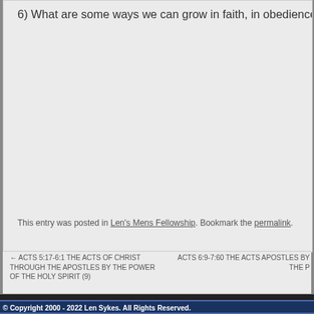6) What are some ways we can grow in faith, in obedience, in grac
This entry was posted in Len's Mens Fellowship. Bookmark the permalink.
← ACTS 5:17-6:1 THE ACTS OF CHRIST THROUGH THE APOSTLES BY THE POWER OF THE HOLY SPIRIT (9)
ACTS 6:9-7:60 THE ACTS APOSTLES BY THE P
© Copyright 2000 - 2022 Len Sykes. All Rights Reserved.